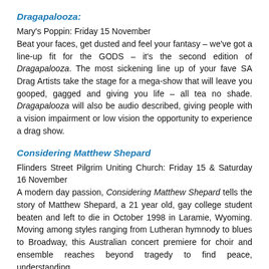Dragapalooza:
Mary's Poppin: Friday 15 November
Beat your faces, get dusted and feel your fantasy – we've got a line-up fit for the GODS – it's the second edition of Dragapalooza. The most sickening line up of your fave SA Drag Artists take the stage for a mega-show that will leave you gooped, gagged and giving you life – all tea no shade. Dragapalooza will also be audio described, giving people with a vision impairment or low vision the opportunity to experience a drag show.
Considering Matthew Shepard
Flinders Street Pilgrim Uniting Church: Friday 15 & Saturday 16 November
A modern day passion, Considering Matthew Shepard tells the story of Matthew Shepard, a 21 year old, gay college student beaten and left to die in October 1998 in Laramie, Wyoming. Moving among styles ranging from Lutheran hymnody to blues to Broadway, this Australian concert premiere for choir and ensemble reaches beyond tragedy to find peace, understanding